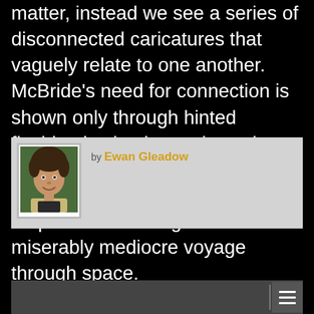matter, instead we see a series of disconnected caricatures that vaguely relate to one another. McBride's need for connection is shown only through hinted flashbacks, back to a time when he was happier. There's no depth, no real feeling of fulfilment, and no point in watching this miserably mediocre voyage through space.
by Ewan Gleadow
[Figure (photo): Portrait photo of Ewan Gleadow, a young man with curly brown hair, smiling, wearing a light jacket over a dark shirt, with green foliage in the background.]
menu icon / navigation bar